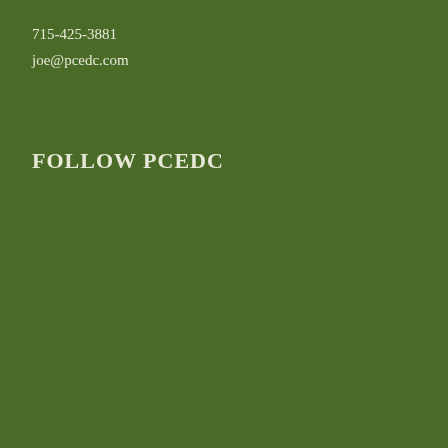715-425-3881
joe@pcedc.com
FOLLOW PCEDC